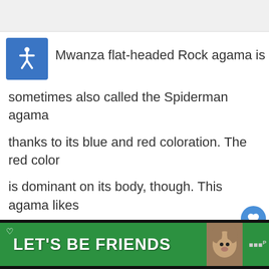[Figure (screenshot): Top grey bar representing page header/navigation area]
[Figure (illustration): Blue square accessibility icon (wheelchair symbol) next to inline title text]
Mwanza flat-headed Rock agama is sometimes also called the Spiderman agama thanks to its blue and red coloration. The red color is dominant on its body, though. This agama likes to hide between rocks and hunt insects.
14. Neurothemis Fulvia
[Figure (screenshot): Green advertisement banner at bottom reading LET'S BE FRIENDS with a dog image]